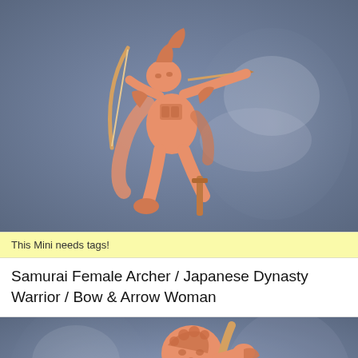[Figure (photo): 3D printed miniature of a female samurai archer in salmon/orange resin color, posed dynamically with bow drawn, wearing Japanese armor with flowing elements. Background is a muted blue-grey with a large sculpted face/mask visible behind.]
This Mini needs tags!
Samurai Female Archer / Japanese Dynasty Warrior / Bow & Arrow Woman
[Figure (photo): Close-up of a second 3D printed miniature figure in salmon/orange resin, showing a crouching or kneeling figure with a bow, detailed armor and textured robes. Same blue-grey background with large sculpted face visible.]